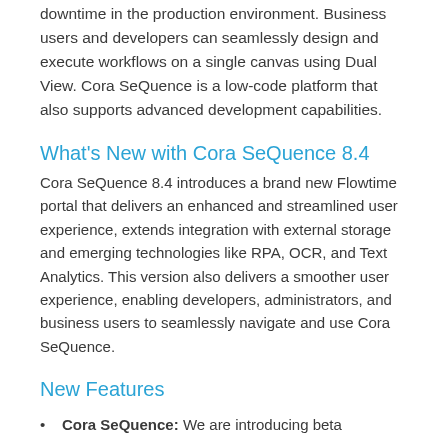downtime in the production environment. Business users and developers can seamlessly design and execute workflows on a single canvas using Dual View. Cora SeQuence is a low-code platform that also supports advanced development capabilities.
What's New with Cora SeQuence 8.4
Cora SeQuence 8.4 introduces a brand new Flowtime portal that delivers an enhanced and streamlined user experience, extends integration with external storage and emerging technologies like RPA, OCR, and Text Analytics. This version also delivers a smoother user experience, enabling developers, administrators, and business users to seamlessly navigate and use Cora SeQuence.
New Features
Cora SeQuence: We are introducing beta